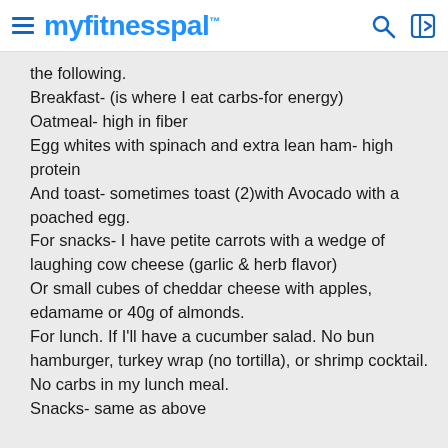myfitnesspal
the following.
Breakfast- (is where I eat carbs-for energy)
Oatmeal- high in fiber
Egg whites with spinach and extra lean ham- high protein
And toast- sometimes toast (2)with Avocado with a poached egg.
For snacks- I have petite carrots with a wedge of laughing cow cheese (garlic & herb flavor)
Or small cubes of cheddar cheese with apples, edamame or 40g of almonds.
For lunch. If I'll have a cucumber salad. No bun hamburger, turkey wrap (no tortilla), or shrimp cocktail. No carbs in my lunch meal.
Snacks- same as above